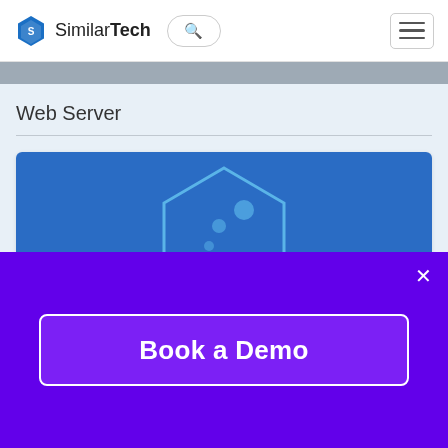SimilarTech
Web Server
[Figure (logo): Varnish logo — hexagon outline with dots and text 'VARNISH' on a blue background]
Varnish
Websites Using Varnish
Book a Demo